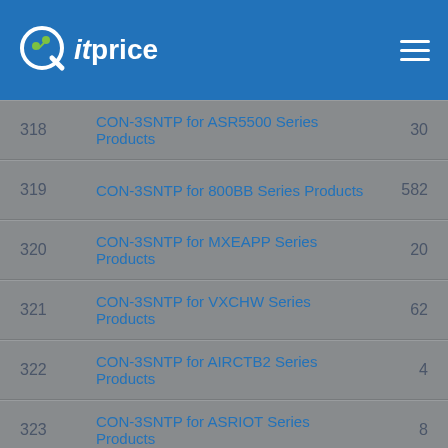itprice
| # | Name | Count |
| --- | --- | --- |
| 318 | CON-3SNTP for ASR5500 Series Products | 30 |
| 319 | CON-3SNTP for 800BB Series Products | 582 |
| 320 | CON-3SNTP for MXEAPP Series Products | 20 |
| 321 | CON-3SNTP for VXCHW Series Products | 62 |
| 322 | CON-3SNTP for AIRCTB2 Series Products | 4 |
| 323 | CON-3SNTP for ASRIOT Series Products | 8 |
| 324 | CON-3SNTP for C9400 Series Products | 15 |
| 325 | CON-3SNTP for C9500 Series Products | 65 |